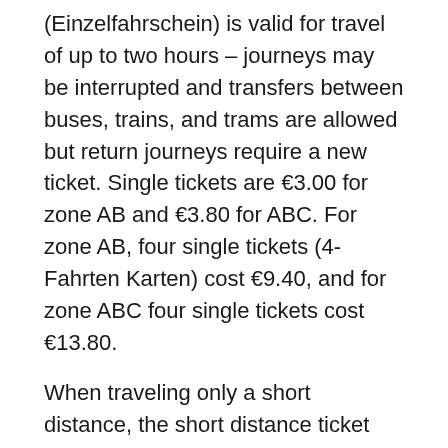(Einzelfahrschein) is valid for travel of up to two hours – journeys may be interrupted and transfers between buses, trains, and trams are allowed but return journeys require a new ticket. Single tickets are €3.00 for zone AB and €3.80 for ABC. For zone AB, four single tickets (4-Fahrten Karten) cost €9.40, and for zone ABC four single tickets cost €13.80.
When traveling only a short distance, the short distance ticket (Kurzstrecke) ticket at €2 is useful. It allows for travel in the same direction for three U or S-Bahn stops (transfers between trains allowed), or six bus or tram stops – transfers not allowed. Note that the bus stops where express buses do not stop must be calculated too.
Save with Day Tickets on